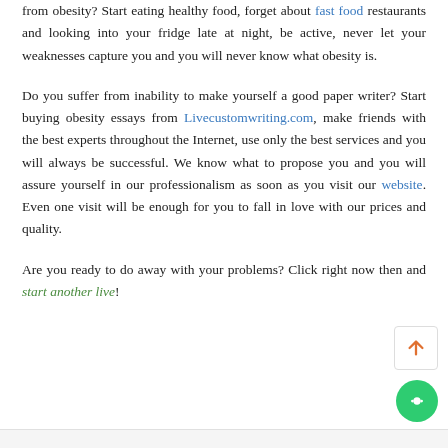from obesity? Start eating healthy food, forget about fast food restaurants and looking into your fridge late at night, be active, never let your weaknesses capture you and you will never know what obesity is.
Do you suffer from inability to make yourself a good paper writer? Start buying obesity essays from Livecustomwriting.com, make friends with the best experts throughout the Internet, use only the best services and you will always be successful. We know what to propose you and you will assure yourself in our professionalism as soon as you visit our website. Even one visit will be enough for you to fall in love with our prices and quality.
Are you ready to do away with your problems? Click right now then and start another live!